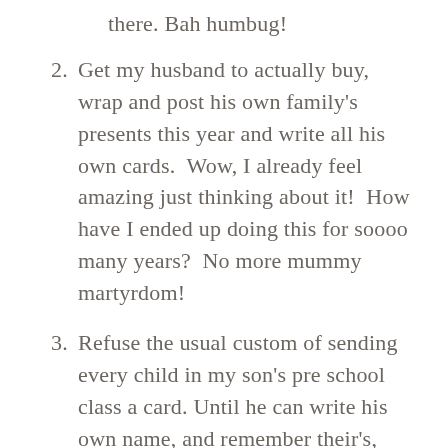there. Bah humbug!
2. Get my husband to actually buy, wrap and post his own family's presents this year and write all his own cards.  Wow, I already feel amazing just thinking about it!  How have I ended up doing this for soooo many years?  No more mummy martyrdom!
3. Refuse the usual custom of sending every child in my son's pre school class a card. Until he can write his own name, and remember their's, forget it.
4. Have a gift theme for the close family and friends I do